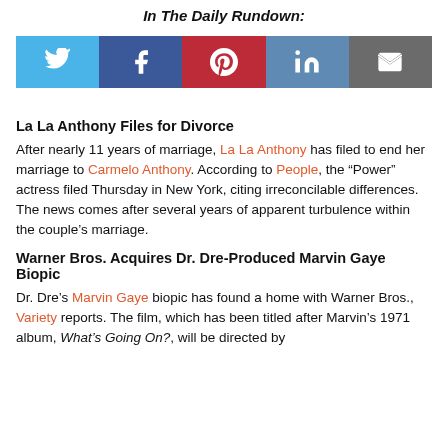In The Daily Rundown:
[Figure (infographic): Social share buttons: Twitter (blue), Facebook (dark blue), Pinterest (red), LinkedIn (blue-gray), Email (gray)]
La La Anthony Files for Divorce
After nearly 11 years of marriage, La La Anthony has filed to end her marriage to Carmelo Anthony. According to People, the “Power” actress filed Thursday in New York, citing irreconcilable differences. The news comes after several years of apparent turbulence within the couple’s marriage.
Warner Bros. Acquires Dr. Dre-Produced Marvin Gaye Biopic
Dr. Dre’s Marvin Gaye biopic has found a home with Warner Bros., Variety reports. The film, which has been titled after Marvin’s 1971 album, What’s Going On?, will be directed by